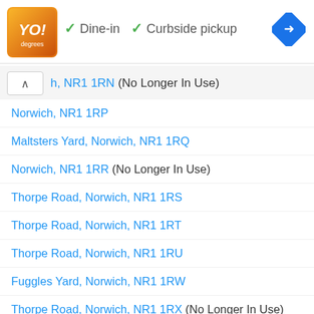[Figure (logo): Orange/yellow gradient logo box with stylized text, restaurant brand logo]
✓ Dine-in   ✓ Curbside pickup
[Figure (illustration): Blue diamond-shaped navigation/directions icon with white arrow]
▶
×
h, NR1 1RN (No Longer In Use)
Norwich, NR1 1RP
Maltsters Yard, Norwich, NR1 1RQ
Norwich, NR1 1RR (No Longer In Use)
Thorpe Road, Norwich, NR1 1RS
Thorpe Road, Norwich, NR1 1RT
Thorpe Road, Norwich, NR1 1RU
Fuggles Yard, Norwich, NR1 1RW
Thorpe Road, Norwich, NR1 1RX (No Longer In Use)
Thorpe Road, Norwich, NR1 1RY
Norwich, NR1 1RZ (No Longer In Use)
Norwich, NR1 1SA (No Longer In Use)